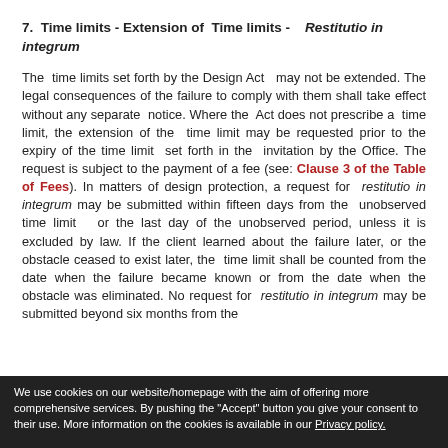7.  Time limits - Extension of  Time limits -   Restitutio in integrum
The  time limits set forth by the Design Act  may not be extended. The legal consequences of the failure to comply with them shall take effect without any separate  notice. Where the  Act does not prescribe a  time limit, the extension of the  time limit may be requested prior to the expiry of the time limit  set forth in the  invitation by the Office. The request is subject to the payment of a fee (see: Clause 3 of the Table of Fees). In matters of design protection, a request for  restitutio in integrum may be submitted within fifteen days from the  unobserved time limit  or the last day of the unobserved period, unless it is excluded by law. If the client learned about the failure later, or the obstacle ceased to exist later, the  time limit shall be counted from the date when the failure became known or from the date when the obstacle was eliminated. No request for  restitutio in integrum may be submitted beyond six months from the
We use cookies on our website/homepage with the aim of offering more comprehensive services. By pushing the "Accept" button you give your consent to their use. More information on the cookies is available in our Privacy policy.